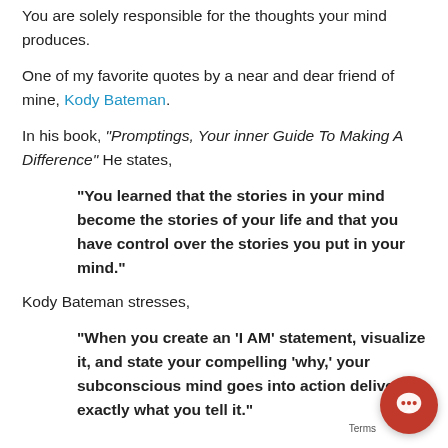You are solely responsible for the thoughts your mind produces.
One of my favorite quotes by a near and dear friend of mine, Kody Bateman.
In his book, "Promptings, Your inner Guide To Making A Difference" He states,
"You learned that the stories in your mind become the stories of your life and that you have control over the stories you put in your mind."
Kody Bateman stresses,
"When you create an 'I AM' statement, visualize it, and state your compelling 'why,' your subconscious mind goes into action delivers exactly what you tell it."